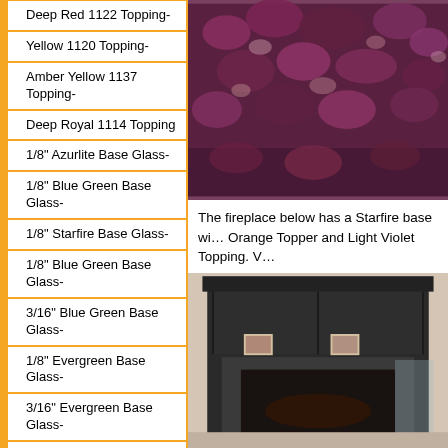Deep Red 1122 Topping-
Yellow 1120 Topping-
Amber Yellow 1137 Topping-
Deep Royal 1114 Topping
1/8" Azurlite Base Glass-
1/8" Blue Green Base Glass-
1/8" Starfire Base Glass-
1/8" Blue Green Base Glass-
3/16" Blue Green Base Glass-
1/8" Evergreen Base Glass-
3/16" Evergreen Base Glass-
1/4" Super Black Base Glass-
[Figure (photo): Close-up photo of deep red/purple glass crystals or gems]
The fireplace below has a Starfire base with Orange Topper and Light Violet Topping. W...
[Figure (photo): Photo of a dark-colored fireplace with mantel in a living room]